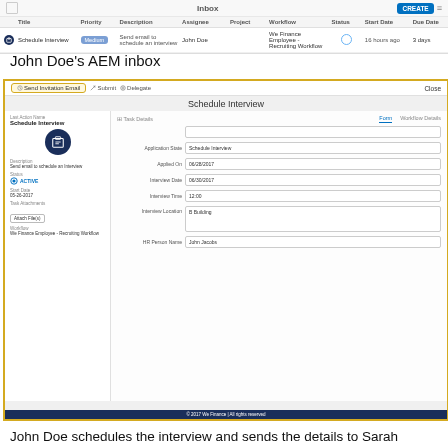[Figure (screenshot): AEM Inbox task list showing 'Schedule Interview' task with Medium priority, assigned to John Doe, We Finance Employee - Recruiting Workflow, status circle icon, 16 hours ago, 3 days due date]
John Doe's AEM inbox
[Figure (screenshot): AEM form dialog for Schedule Interview task showing sidebar with task details and main form with fields: Application State (Schedule Interview), Applied On (06/28/2017), Interview Date (06/30/2017), Interview Time (12:00), Interview Location (B Building), HR Person Name (John Jacobs). Top bar has Send Invitation Email, Submit, Delegate buttons and Close link.]
John Doe schedules the interview and sends the details to Sarah